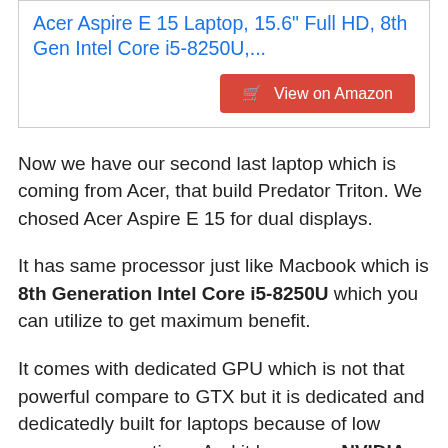Acer Aspire E 15 Laptop, 15.6" Full HD, 8th Gen Intel Core i5-8250U,...
View on Amazon
Now we have our second last laptop which is coming from Acer, that build Predator Triton. We chosed Acer Aspire E 15 for dual displays.
It has same processor just like Macbook which is 8th Generation Intel Core i5-8250U which you can utilize to get maximum benefit.
It comes with dedicated GPU which is not that powerful compare to GTX but it is dedicated and dedicatedly built for laptops because of low power consumptions. And it known as NVIDIA